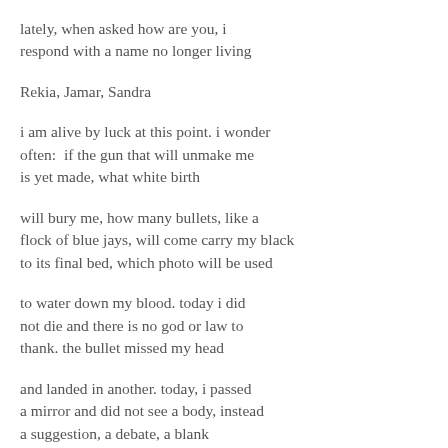lately, when asked how are you, i
respond with a name no longer living
Rekia, Jamar, Sandra
i am alive by luck at this point. i wonder
often:  if the gun that will unmake me
is yet made, what white birth
will bury me, how many bullets, like a
flock of blue jays, will come carry my black
to its final bed, which photo will be used
to water down my blood. today i did
not die and there is no god or law to
thank. the bullet missed my head
and landed in another. today, i passed
a mirror and did not see a body, instead
a suggestion, a debate, a blank
part it note there looking back, i